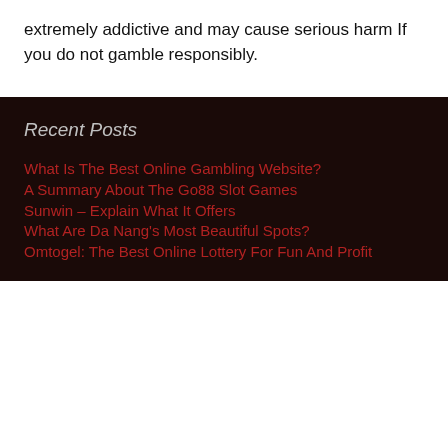extremely addictive and may cause serious harm If you do not gamble responsibly.
Recent Posts
What Is The Best Online Gambling Website?
A Summary About The Go88 Slot Games
Sunwin – Explain What It Offers
What Are Da Nang's Most Beautiful Spots?
Omtogel: The Best Online Lottery For Fun And Profit